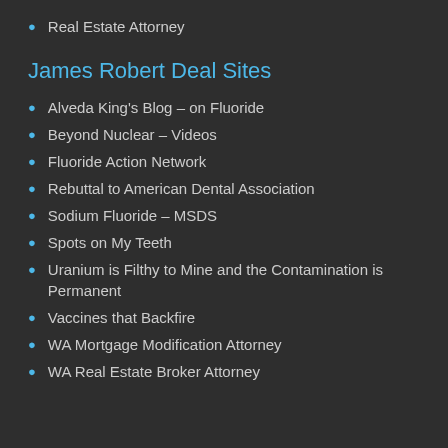Real Estate Attorney
James Robert Deal Sites
Alveda King's Blog – on Fluoride
Beyond Nuclear – Videos
Fluoride Action Network
Rebuttal to American Dental Association
Sodium Fluoride – MSDS
Spots on My Teeth
Uranium is Filthy to Mine and the Contamination is Permanent
Vaccines that Backfire
WA Mortgage Modification Attorney
WA Real Estate Broker Attorney